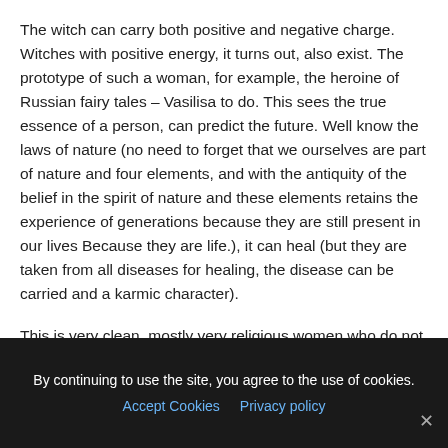The witch can carry both positive and negative charge. Witches with positive energy, it turns out, also exist. The prototype of such a woman, for example, the heroine of Russian fairy tales – Vasilisa to do. This sees the true essence of a person, can predict the future. Well know the laws of nature (no need to forget that we ourselves are part of nature and four elements, and with the antiquity of the belief in the spirit of nature and these elements retains the experience of generations because they are still present in our lives Because they are life.), it can heal (but they are taken from all diseases for healing, the disease can be carried and a karmic character).
This is very clean, mostly very religious women who do not refuse to help anyone (the fee is not appointed, and according to human abilities that he himself wants to go), talking to such a leader is a psychotherapeutic – calming
By continuing to use the site, you agree to the use of cookies. Accept Cookies Privacy policy